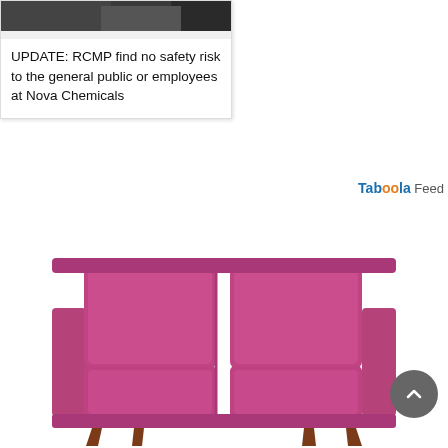[Figure (screenshot): Partial news card showing a dark image at top (appears to be a news photo clipped at top)]
UPDATE: RCMP find no safety risk to the general public or employees at Nova Chemicals
Taboola Feed
[Figure (photo): A pink/magenta two-seat sofa with wooden legs on a white background, styled mid-century modern design]